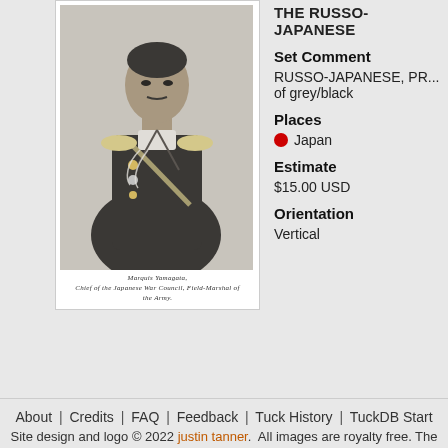THE RUSSO-JAPANESE
Set Comment
RUSSO-JAPANESE, PR... of grey/black
Places
Japan
Estimate
$15.00 USD
Orientation
Vertical
[Figure (photo): Black and white portrait photo of Marquis Yamagata, Chief of the Japanese War Council, Field-Marshal of the Army, in military uniform with medals and decorations]
Marquis Yamagata, Chief of the Japanese War Council, Field-Marshal of the Army.
About | Credits | FAQ | Feedback | Tuck History | TuckDB Start
Site design and logo © 2022 justin tanner. All images are royalty free. The